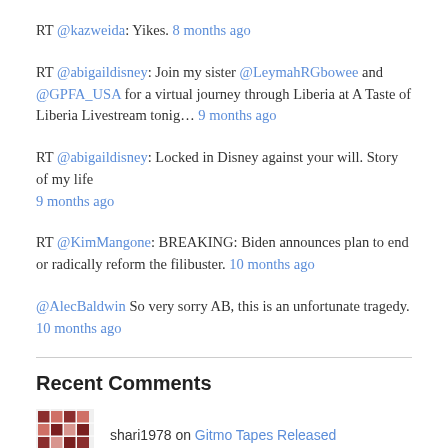RT @kazweida: Yikes. 8 months ago
RT @abigaildisney: Join my sister @LeymahRGbowee and @GPFA_USA for a virtual journey through Liberia at A Taste of Liberia Livestream tonig… 9 months ago
RT @abigaildisney: Locked in Disney against your will. Story of my life 9 months ago
RT @KimMangone: BREAKING: Biden announces plan to end or radically reform the filibuster. 10 months ago
@AlecBaldwin So very sorry AB, this is an unfortunate tragedy. 10 months ago
Recent Comments
shari1978 on Gitmo Tapes Released